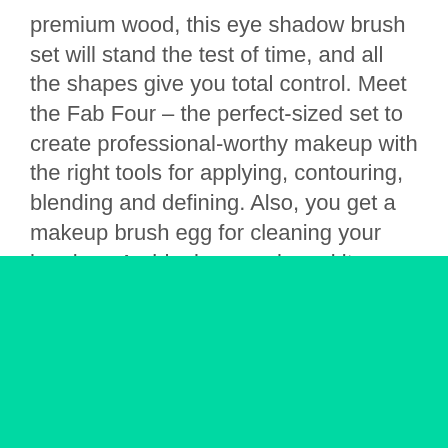premium wood, this eye shadow brush set will stand the test of time, and all the shapes give you total control. Meet the Fab Four – the perfect-sized set to create professional-worthy makeup with the right tools for applying, contouring, blending and defining. Also, you get a makeup brush egg for cleaning your brushes. An ideal eye makeup kit contains three brushes with soft fibres that can blend and distribute pigment with precision. Also, there are...
[Figure (other): Solid turquoise/green color block filling the bottom portion of the page]